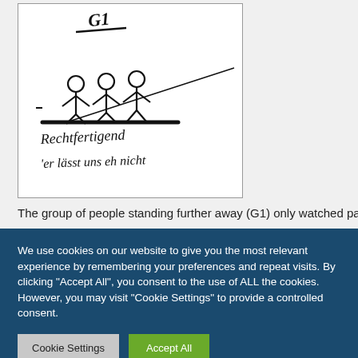[Figure (illustration): Hand-drawn sketch showing stick figures (group G1) standing on a line with handwritten German text below: 'Rechtfertigend' and ''er lässt uns eh nicht']
The group of people standing further away (G1) only watched passi...
We use cookies on our website to give you the most relevant experience by remembering your preferences and repeat visits. By clicking "Accept All", you consent to the use of ALL the cookies. However, you may visit "Cookie Settings" to provide a controlled consent.